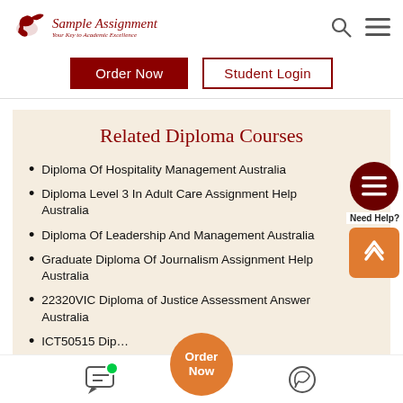[Figure (logo): Sample Assignment logo with bird and text 'Your Key to Academic Excellence']
[Figure (other): Search icon and hamburger menu icon in header]
[Figure (other): Order Now (dark red) and Student Login (outlined) buttons]
Related Diploma Courses
Diploma Of Hospitality Management Australia
Diploma Level 3 In Adult Care Assignment Help Australia
Diploma Of Leadership And Management Australia
Graduate Diploma Of Journalism Assignment Help Australia
22320VIC Diploma of Justice Assessment Answer Australia
ICT50515 Diploma of ...
[Figure (other): Need Help? button with hamburger icon (dark red circle) and orange scroll-up arrow button]
[Figure (other): Bottom bar with chat icon (green dot), orange Order Now circle button, and WhatsApp icon]